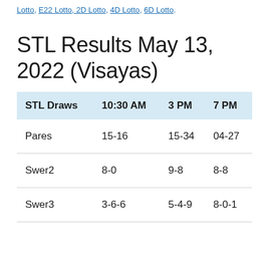Lotto, E22 Lotto, 2D Lotto, 4D Lotto, 6D Lotto.
STL Results May 13, 2022 (Visayas)
| STL Draws | 10:30 AM | 3 PM | 7 PM |
| --- | --- | --- | --- |
| Pares | 15-16 | 15-34 | 04-27 |
| Swer2 | 8-0 | 9-8 | 8-8 |
| Swer3 | 3-6-6 | 5-4-9 | 8-0-1 |